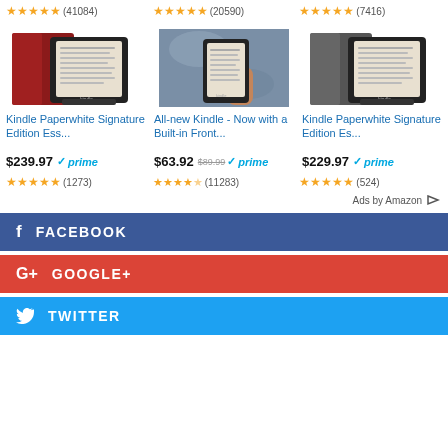[Figure (screenshot): Amazon product listing grid showing three Kindle products with ratings, images, prices, and Prime badges, followed by social share buttons for Facebook, Google+, and Twitter]
Kindle Paperwhite Signature Edition Ess... $239.97 prime (1273 reviews)
All-new Kindle - Now with a Built-in Front... $63.92 $89.99 prime (11283 reviews)
Kindle Paperwhite Signature Edition Es... $229.97 prime (524 reviews)
Ads by Amazon
FACEBOOK
GOOGLE+
TWITTER